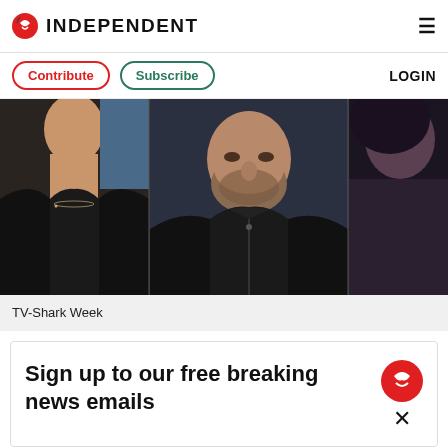INDEPENDENT
Contribute  Subscribe  LOGIN
[Figure (photo): Three celebrity photos side by side: a woman in black on the left, a man with beard in black leather jacket in the center, and a partially visible figure on the right]
TV-Shark Week
Sign up to our free breaking news emails